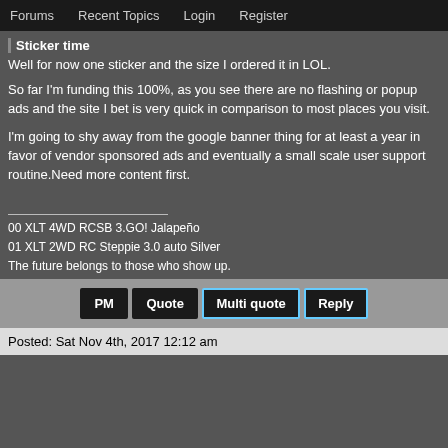Forums   Recent Topics   Login   Register
Sticker time
Well for now one sticker and the size I ordered it in LOL.
So far I'm funding this 100%, as you see there are no flashing or popup ads and the site I bet is very quick in comparison to most places you visit.
I'm going to shy away from the google banner thing for at least a year in favor of vendor sponsored ads and eventually a small scale user support routine.Need more content first.
00 XLT 4WD RCSB 3.GO! Jalapeño
01 XLT 2WD RC Steppie 3.0 auto Silver
The future belongs to those who show up.
PM   Quote   Multi quote   Reply
Posted: Sat Nov 4th, 2017 12:12 am